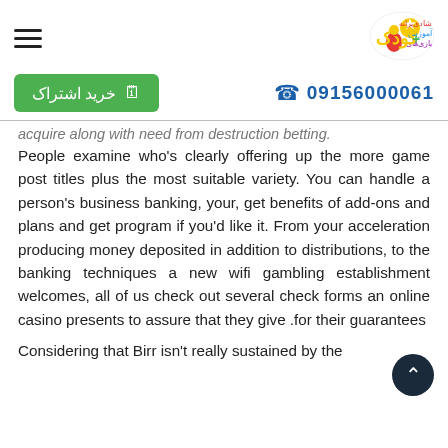hamburger menu | logo
خرید اشتراک | 09156000061
acquire along with need from destruction betting. People examine who's clearly offering up the more game post titles plus the most suitable variety. You can handle a person's business banking, your, get benefits of add-ons and plans and get program if you'd like it. From your acceleration producing money deposited in addition to distributions, to the banking techniques a new wifi gambling establishment welcomes, all of us check out several check forms an online casino presents to assure that they give .for their guarantees
Considering that Birr isn't really sustained by the